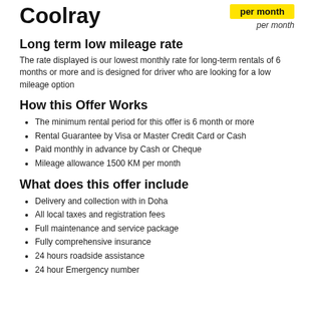Coolray
per month
Long term low mileage rate
The rate displayed is our lowest monthly rate for long-term rentals of 6 months or more and is designed for driver who are looking for a low mileage option
How this Offer Works
The minimum rental period for this offer is 6 month or more
Rental Guarantee by Visa or Master Credit Card or Cash
Paid monthly in advance by Cash or Cheque
Mileage allowance 1500 KM per month
What does this offer include
Delivery and collection with in Doha
All local taxes and registration fees
Full maintenance and service package
Fully comprehensive insurance
24 hours roadside assistance
24 hour Emergency number